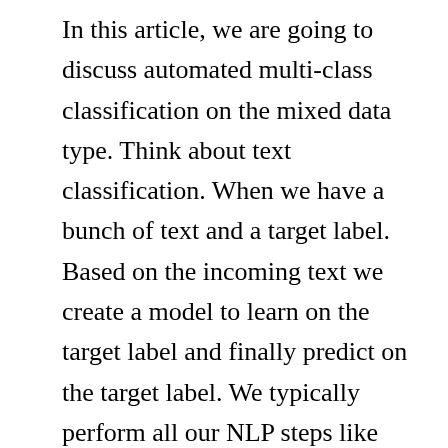In this article, we are going to discuss automated multi-class classification on the mixed data type. Think about text classification. When we have a bunch of text and a target label. Based on the incoming text we create a model to learn on the target label and finally predict on the target label. We typically perform all our NLP steps like tokenization, etc to classify our target values. But if you take real-world data sometimes along with the text data you will also have some continuous variables or categorical variables. For example, consider a call center and you have a customer voice to text conversion model and you are trying to classify whether the sentence is positive or